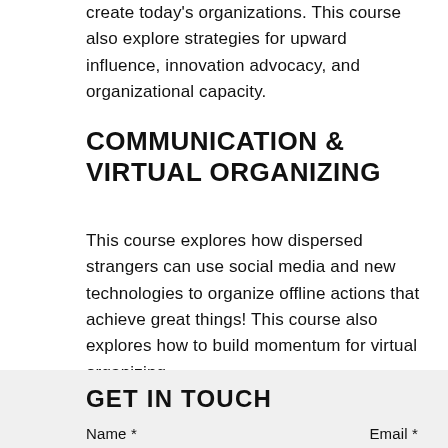create today's organizations. This course also explore strategies for upward influence, innovation advocacy, and organizational capacity.
COMMUNICATION & VIRTUAL ORGANIZING
This course explores how dispersed strangers can use social media and new technologies to organize offline actions that achieve great things! This course also explores how to build momentum for virtual organizing.
GET IN TOUCH
Name *
Email *